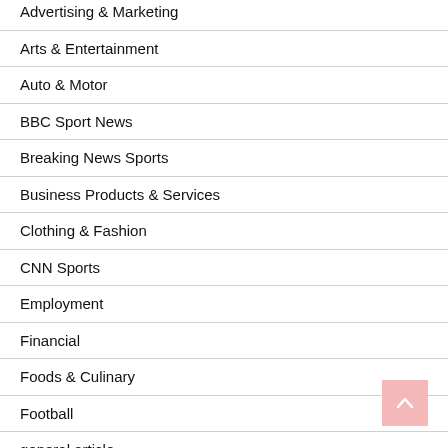Advertising & Marketing
Arts & Entertainment
Auto & Motor
BBC Sport News
Breaking News Sports
Business Products & Services
Clothing & Fashion
CNN Sports
Employment
Financial
Foods & Culinary
Football
general article
Health & Fitness